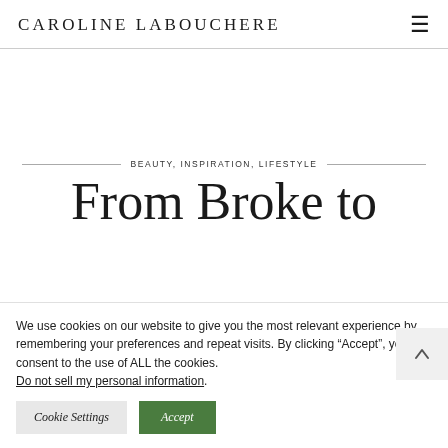Caroline Labouchere
BEAUTY, INSPIRATION, LIFESTYLE
From Broke to
We use cookies on our website to give you the most relevant experience by remembering your preferences and repeat visits. By clicking “Accept”, you consent to the use of ALL the cookies. Do not sell my personal information.